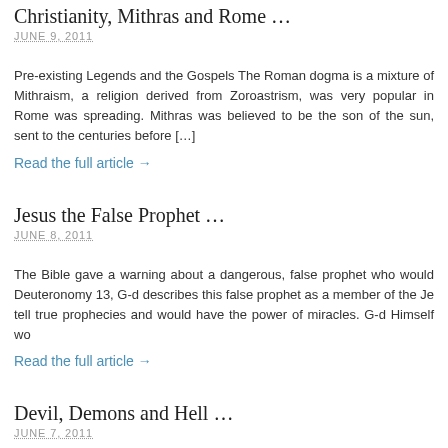Christianity, Mithras and Rome …
JUNE 9, 2011
Pre-existing Legends and the Gospels The Roman dogma is a mixture of Mithraism, a religion derived from Zoroastrism, was very popular in Rome was spreading. Mithras was believed to be the son of the sun, sent to the centuries before […]
Read the full article →
Jesus the False Prophet …
JUNE 8, 2011
The Bible gave a warning about a dangerous, false prophet who would Deuteronomy 13, G-d describes this false prophet as a member of the Je tell true prophecies and would have the power of miracles. G-d Himself wo
Read the full article →
Devil, Demons and Hell …
JUNE 7, 2011
By Shmuel Golding   Essential to Christianity is the belief in the devil. T New Testament where he is considered to be on par with G-d. We are